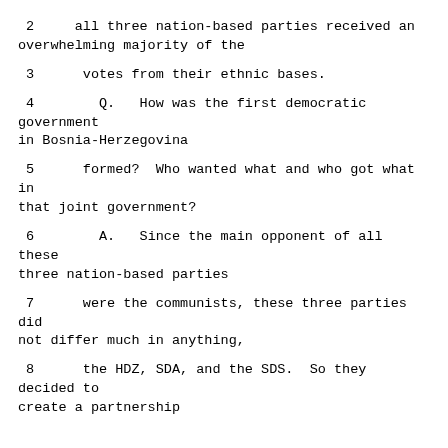2     all three nation-based parties received an overwhelming majority of the
3      votes from their ethnic bases.
4        Q.   How was the first democratic government in Bosnia-Herzegovina
5      formed?  Who wanted what and who got what in that joint government?
6        A.   Since the main opponent of all these three nation-based parties
7      were the communists, these three parties did not differ much in anything,
8      the HDZ, SDA, and the SDS.  So they decided to create a partnership